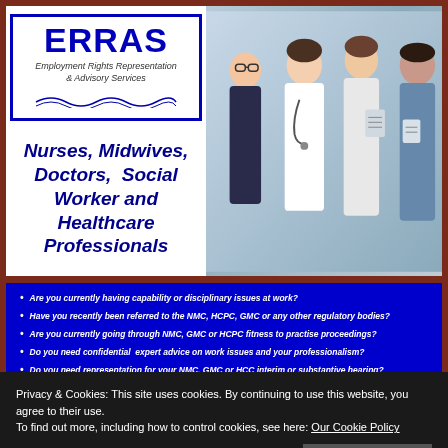[Figure (logo): ERRAS logo - Employment Rights Representation & Advisory Services in a blue-bordered box with wave decoration]
Nurses, Midwives, Doctors, Social Worker and Healthcare Professionals
[Figure (photo): Group of healthcare professionals including nurses, doctors in white coats and blue scrubs]
Are you currently having capability or disciplinary issues at work?
Have you recently been referred to the NMC, HCPC, GMC or any other regulatory bodies?
Are you currently going through NMC, GMC or HCPC fitness to practise proceedings?
Do you need confidential expert advice on work issues and your professionalism?
Do you need representation for your NMC, GMC or HCC interim or substantive hearing?
Privacy & Cookies: This site uses cookies. By continuing to use this website, you agree to their use. To find out more, including how to control cookies, see here: Our Cookie Policy
Close and accept